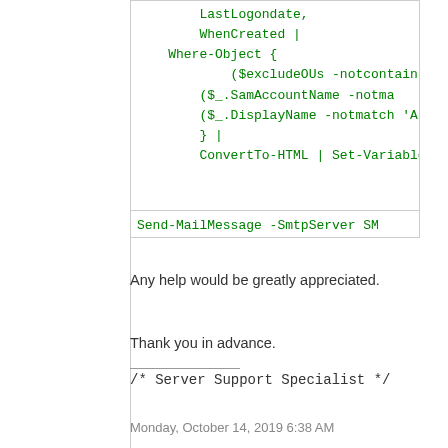[Figure (screenshot): Code block showing PowerShell script with green monospace text including LastLogondate, WhenCreated, Where-Object, excludeOUs, SamAccountName, DisplayName filters, ConvertTo-HTML, Set-Variable, and Send-MailMessage commands]
Any help would be greatly appreciated.
Thank you in advance.
/* Server Support Specialist */
Monday, October 14, 2019 6:38 AM